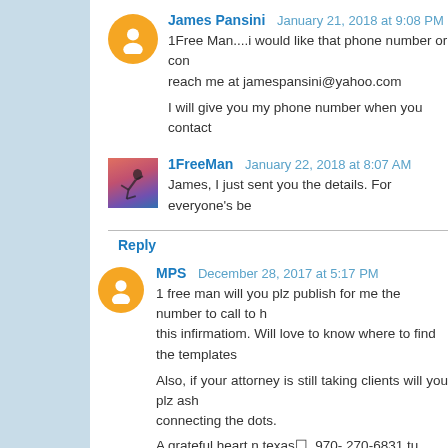James Pansini  January 21, 2018 at 9:08 PM
1Free Man....i would like that phone number or contact. You can reach me at jamespansini@yahoo.com

I will give you my phone number when you contact
1FreeMan  January 22, 2018 at 8:07 AM
James, I just sent you the details. For everyone's be
Reply
MPS  December 28, 2017 at 5:17 PM
1 free man will you plz publish for me the number to call to h this infirmatiom. Will love to know where to find the templates.

Also, if your attorney is still taking clients will you plz ask connecting the dots.
A grateful heart n texas☐. 970- 270-6831 tu.

Who would like to follow this with them...